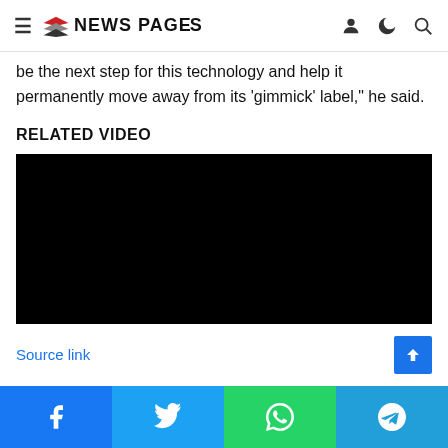NEWS PAGES
be the next step for this technology and help it permanently move away from its ‘gimmick’ label,” he said.
RELATED VIDEO
[Figure (other): Black video player embed area]
Source link
Social share bar: Facebook, Twitter, WhatsApp, Telegram